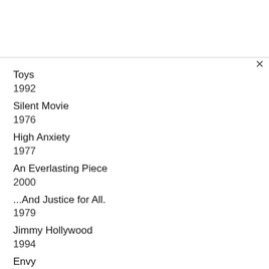Toys
1992
Silent Movie
1976
High Anxiety
1977
An Everlasting Piece
2000
...And Justice for All.
1979
Jimmy Hollywood
1994
Envy
2004
Donnie Brasco
1997